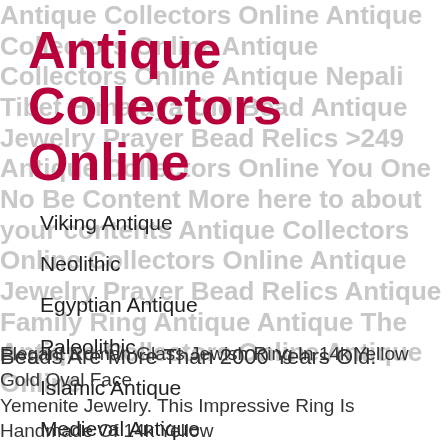Antique Collectors Online
Viking Antique
Neolithic
Egyptian Antique
Paleolithic
Islamic Antique
Medieval Antique
Beads Are More Than 2000 Years Old.
Elegant Roman Glass Jewish Ring In 14k Yellow Gold Oval Face Yemenite Jewelry. This Impressive Ring Is Handmade Of 14k Yello